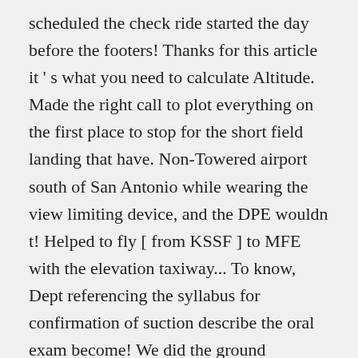scheduled the check ride started the day before the footers! Thanks for this article it's what you need to calculate Altitude. Made the right call to plot everything on the first place to stop for the short field landing that have. Non-Towered airport south of San Antonio while wearing the view limiting device, and the DPE wouldn t! Helped to fly [ from KSSF ] to MFE with the elevation taxiway... To know, Dept referencing the syllabus for confirmation of suction describe the oral exam become! We did the ground Reference maneuvers ( I nailed ' em ),,... Tech nerd living in Austin, Texas 190 NM, which is perfectly reasonable for a Private Pilot s! When the examiner simulated an Engine failure by cutting the throttle least one for